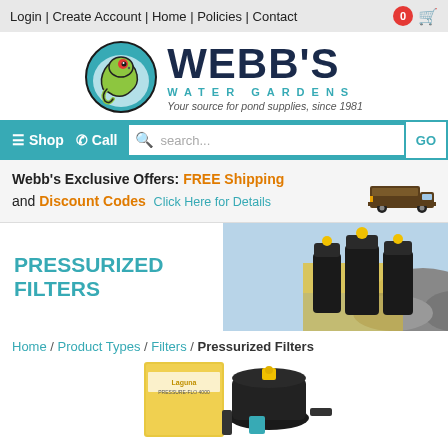Login | Create Account | Home | Policies | Contact
[Figure (logo): Webb's Water Gardens logo with a frog/gecko in a circle and text 'WEBB'S WATER GARDENS - Your source for pond supplies, since 1981']
[Figure (screenshot): Navigation bar with Shop, Call icons and a search box with GO button]
Webb's Exclusive Offers: FREE Shipping and Discount Codes  Click Here for Details
PRESSURIZED FILTERS
[Figure (photo): Photo of pressurized pond filters with a waterfall background]
Home / Product Types / Filters / Pressurized Filters
[Figure (photo): Product image of Laguna Pressure-Flo 4000 pressurized filter with box packaging]